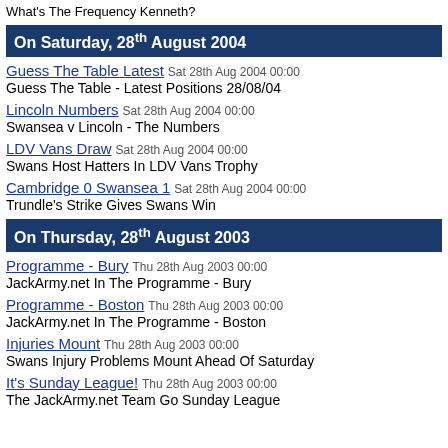What's The Frequency Kenneth?
On Saturday, 28th August 2004
Guess The Table Latest Sat 28th Aug 2004 00:00
Guess The Table - Latest Positions 28/08/04
Lincoln Numbers Sat 28th Aug 2004 00:00
Swansea v Lincoln - The Numbers
LDV Vans Draw Sat 28th Aug 2004 00:00
Swans Host Hatters In LDV Vans Trophy
Cambridge 0 Swansea 1 Sat 28th Aug 2004 00:00
Trundle's Strike Gives Swans Win
On Thursday, 28th August 2003
Programme - Bury Thu 28th Aug 2003 00:00
JackArmy.net In The Programme - Bury
Programme - Boston Thu 28th Aug 2003 00:00
JackArmy.net In The Programme - Boston
Injuries Mount Thu 28th Aug 2003 00:00
Swans Injury Problems Mount Ahead Of Saturday
It's Sunday League! Thu 28th Aug 2003 00:00
The JackArmy.net Team Go Sunday League